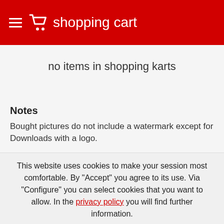shopping cart
no items in shopping karts
Notes
Bought pictures do not include a watermark except for Downloads with a logo.
This website uses cookies to make your session most comfortable. By "Accept" you agree to its use. Via "Configure" you can select cookies that you want to allow. In the privacy policy you will find further information.